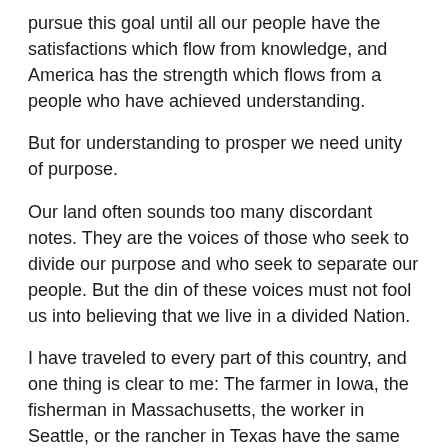pursue this goal until all our people have the satisfactions which flow from knowledge, and America has the strength which flows from a people who have achieved understanding.
But for understanding to prosper we need unity of purpose.
Our land often sounds too many discordant notes. They are the voices of those who seek to divide our purpose and who seek to separate our people. But the din of these voices must not fool us into believing that we live in a divided Nation.
I have traveled to every part of this country, and one thing is clear to me: The farmer in Iowa, the fisherman in Massachusetts, the worker in Seattle, or the rancher in Texas have the same hopes and harbor the same fears. They want education for their children and an improving life for their families. They want to protect liberty and they want to pursue peace. They expect justice for themselves and they are willing to grant it to others.
This is the real voice of America. And it is one of the great tasks of political leadership to make our people aware of this